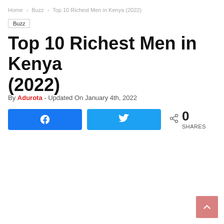Home > Buzz > Top 10 Richest Men in Kenya (2022)
Buzz
Top 10 Richest Men in Kenya (2022)
By Adurota - Updated On January 4th, 2022
[Figure (other): Social share buttons: Facebook share button, Twitter share button, and share count showing 0 SHARES]